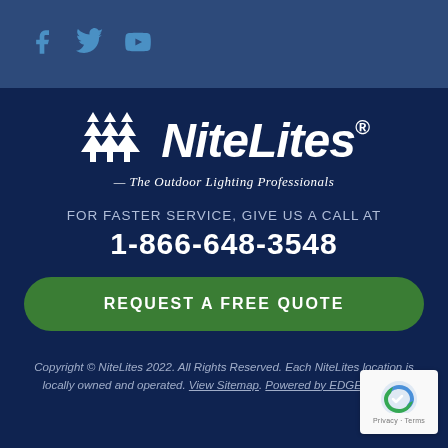[Facebook] [Twitter] [YouTube] social icons
[Figure (logo): NiteLites logo with chevron/tree symbol and tagline '— The Outdoor Lighting Professionals']
FOR FASTER SERVICE, GIVE US A CALL AT
1-866-648-3548
REQUEST A FREE QUOTE
Copyright © NiteLites 2022. All Rights Reserved. Each NiteLites location is locally owned and operated. View Sitemap. Powered by EDGEmpower.